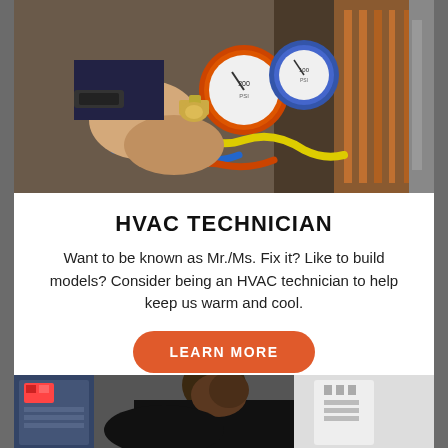[Figure (photo): Close-up of HVAC technician hands working with pressure gauges and refrigerant hoses on HVAC equipment with copper pipes in background]
HVAC TECHNICIAN
Want to be known as Mr./Ms. Fix it? Like to build models? Consider being an HVAC technician to help keep us warm and cool.
LEARN MORE
[Figure (photo): African American male technician leaning over and working on industrial equipment in a workshop or factory setting]